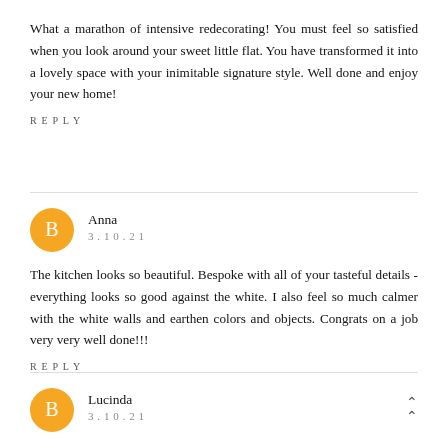What a marathon of intensive redecorating! You must feel so satisfied when you look around your sweet little flat. You have transformed it into a lovely space with your inimitable signature style. Well done and enjoy your new home!
REPLY
Anna
3.10.21
The kitchen looks so beautiful. Bespoke with all of your tasteful details - everything looks so good against the white. I also feel so much calmer with the white walls and earthen colors and objects. Congrats on a job very very well done!!!
REPLY
Lucinda
3.10.21